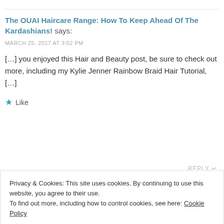The OUAI Haircare Range: How To Keep Ahead Of The Kardashians! says:
MARCH 25, 2017 AT 3:52 PM
[…] you enjoyed this Hair and Beauty post, be sure to check out more, including my Kylie Jenner Rainbow Braid Hair Tutorial, […]
Like
REPLY
Privacy & Cookies: This site uses cookies. By continuing to use this website, you agree to their use.
To find out more, including how to control cookies, see here: Cookie Policy
Close and accept
Leave a Reply